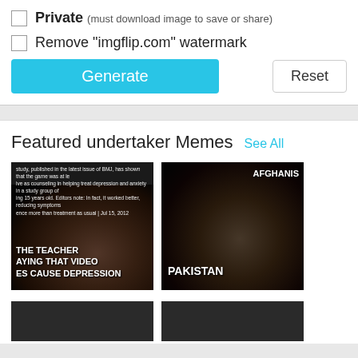Private (must download image to save or share)
Remove "imgflip.com" watermark
Generate
Reset
Featured undertaker Memes  See All
[Figure (photo): Meme image showing undertaker with text 'THE TEACHER SAYING THAT VIDEO GAMES CAUSE DEPRESSION' at bottom and small article text at top]
[Figure (photo): Meme image showing undertaker with text 'AFGHANI' at top right and 'PAKISTAN' at bottom left]
[Figure (photo): Partial meme thumbnail at bottom left]
[Figure (photo): Partial meme thumbnail at bottom right]